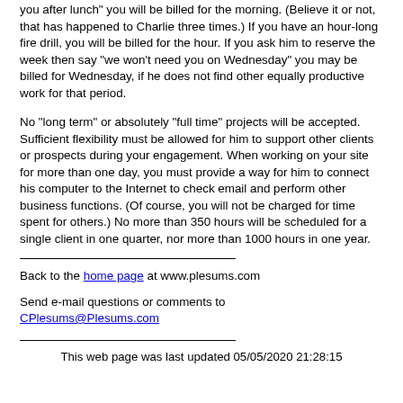you after lunch" you will be billed for the morning. (Believe it or not, that has happened to Charlie three times.) If you have an hour-long fire drill, you will be billed for the hour. If you ask him to reserve the week then say "we won't need you on Wednesday" you may be billed for Wednesday, if he does not find other equally productive work for that period.
No "long term" or absolutely "full time" projects will be accepted. Sufficient flexibility must be allowed for him to support other clients or prospects during your engagement. When working on your site for more than one day, you must provide a way for him to connect his computer to the Internet to check email and perform other business functions. (Of course, you will not be charged for time spent for others.) No more than 350 hours will be scheduled for a single client in one quarter, nor more than 1000 hours in one year.
Back to the home page at www.plesums.com
Send e-mail questions or comments to CPlesums@Plesums.com
This web page was last updated 05/05/2020 21:28:15